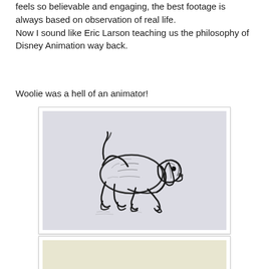feels so believable and engaging, the best footage is always based on observation of real life.
Now I sound like Eric Larson teaching us the philosophy of Disney Animation way back.
Woolie was a hell of an animator!
[Figure (illustration): A charcoal sketch of an animated dog character in a crouched, forward-leaning pose, drawn in a loose gestural style on a light gray background.]
[Figure (illustration): Partial view of a second illustration on a cream/beige background, mostly cut off at the bottom of the page.]